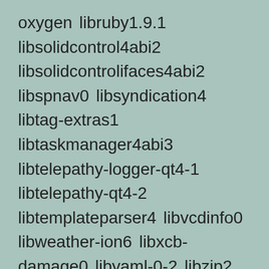oxygen libruby1.9.1 libsolidcontrol4abi2 libsolidcontrolifaces4abi2 libspnav0 libsyndication4 libtag-extras1 libtaskmanager4abi3 libtelepathy-logger-qt4-1 libtelepathy-qt4-2 libtemplateparser4 libvcdinfo0 libweather-ion6 libxcb-damage0 libyaml-0-2 libzip2 lightdm-kde-greeter muon muon-installer muon-notifier muon-updater okular okular-extra-backends oxygen-cursor-theme partitionmanager pinentry-gtk2 pinentry-qt4 plasma-dataengines-addons plasma-dataengines-workspace plasma-desktop plasma-netbook plasma-scriptengine-python